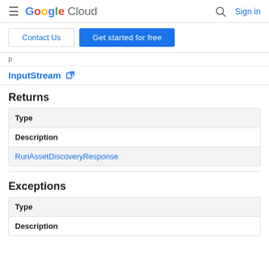Google Cloud  Sign in
Contact Us  Get started for free
InputStream
Returns
| Type |
| --- |
| Description |
| RunAssetDiscoveryResponse |
Exceptions
| Type |
| --- |
| Description |